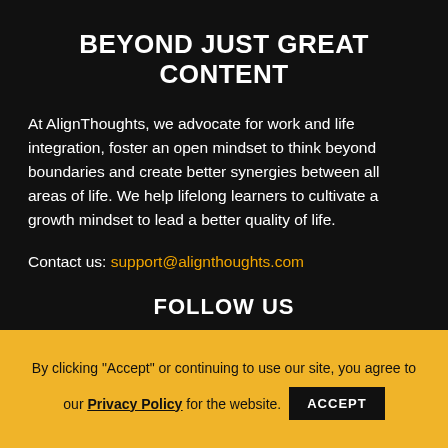BEYOND JUST GREAT CONTENT
At AlignThoughts, we advocate for work and life integration, foster an open mindset to think beyond boundaries and create better synergies between all areas of life. We help lifelong learners to cultivate a growth mindset to lead a better quality of life.
Contact us: support@alignthoughts.com
FOLLOW US
By clicking "Accept" or continuing to use our site, you agree to our Privacy Policy for the website.